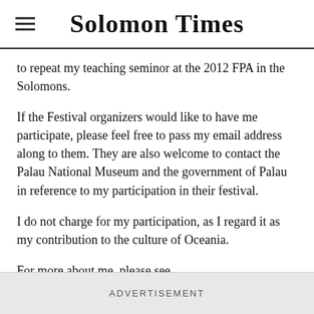Solomon Times
to repeat my teaching seminor at the 2012 FPA in the Solomons.
If the Festival organizers would like to have me participate, please feel free to pass my email address along to them. They are also welcome to contact the Palau National Museum and the government of Palau in reference to my participation in their festival.
I do not charge for my participation, as I regard it as my contribution to the culture of Oceania.
For more about me, please see www.alandeanfoster.com
ADVERTISEMENT